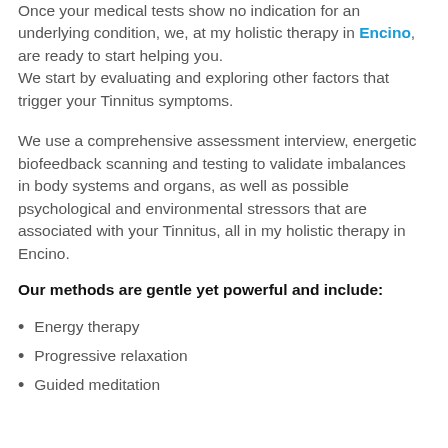Once your medical tests show no indication for an underlying condition, we, at my holistic therapy in Encino, are ready to start helping you. We start by evaluating and exploring other factors that trigger your Tinnitus symptoms.
We use a comprehensive assessment interview, energetic biofeedback scanning and testing to validate imbalances in body systems and organs, as well as possible psychological and environmental stressors that are associated with your Tinnitus, all in my holistic therapy in Encino.
Our methods are gentle yet powerful and include:
Energy therapy
Progressive relaxation
Guided meditation